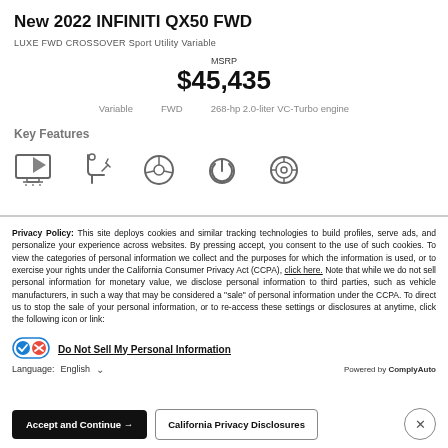New 2022 INFINITI QX50 FWD
LUXE FWD CROSSOVER Sport Utility Variable
MSRP $45,435
Variable   FWD   268-hp 2.0-liter VC-Turbo engine
Key Features
[Figure (illustration): Row of key feature icons: display screen, seat adjustment, steering wheel, power button, and circular icon]
Privacy Policy: This site deploys cookies and similar tracking technologies to build profiles, serve ads, and personalize your experience across websites. By pressing accept, you consent to the use of such cookies. To view the categories of personal information we collect and the purposes for which the information is used, or to exercise your rights under the California Consumer Privacy Act (CCPA), click here. Note that while we do not sell personal information for monetary value, we disclose personal information to third parties, such as vehicle manufacturers, in such a way that may be considered a "sale" of personal information under the CCPA. To direct us to stop the sale of your personal information, or to re-access these settings or disclosures at anytime, click the following icon or link:
Do Not Sell My Personal Information
Language: English
Powered by ComplyAuto
Accept and Continue →   California Privacy Disclosures